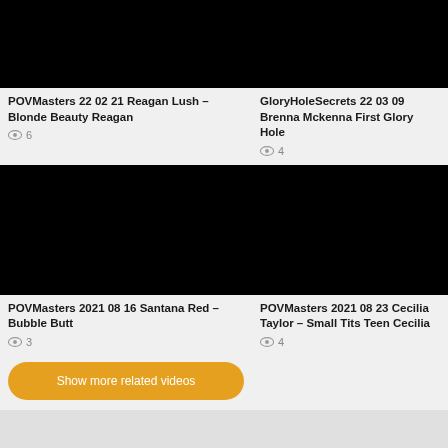[Figure (screenshot): Black thumbnail image for video card 1]
POVMasters 22 02 21 Reagan Lush – Blonde Beauty Reagan
6 views
[Figure (screenshot): Black thumbnail image for video card 2]
GloryHoleSecrets 22 03 09 Brenna Mckenna First Glory Hole
4 views
[Figure (screenshot): Black thumbnail image for video card 3]
POVMasters 2021 08 16 Santana Red – Bubble Butt
3 views
[Figure (screenshot): Black thumbnail image for video card 4]
POVMasters 2021 08 23 Cecilia Taylor – Small Tits Teen Cecilia
4 views
Show more related videos